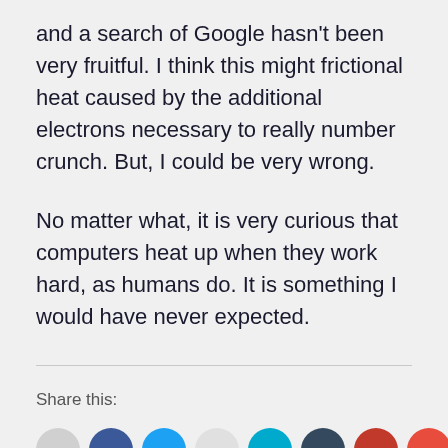and a search of Google hasn't been very fruitful. I think this might frictional heat caused by the additional electrons necessary to really number crunch. But, I could be very wrong.
No matter what, it is very curious that computers heat up when they work hard, as humans do. It is something I would have never expected.
Share this: